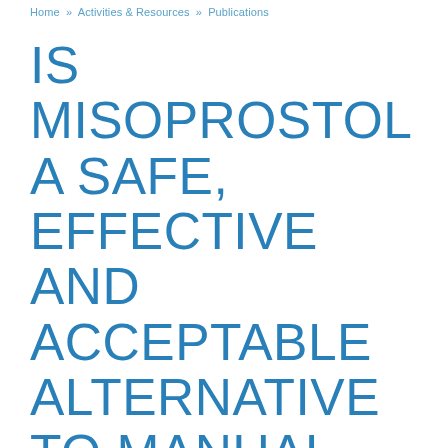Home » Activities & Resources » Publications
IS MISOPROSTOL A SAFE, EFFECTIVE AND ACCEPTABLE ALTERNATIVE TO MANUAL VACUUM ASPIRATION FOR POSTABORTION CARE? RESULTS FROM A RANDOMISED TRIAL IN